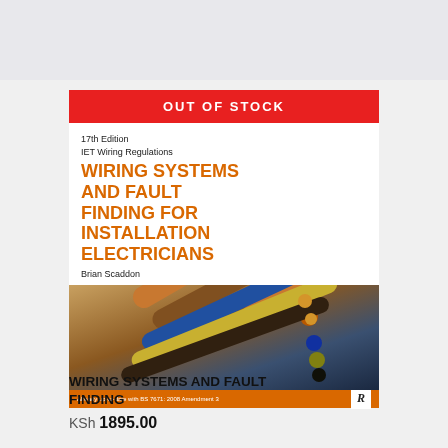[Figure (screenshot): Book product listing page showing 'Out of Stock' banner over book cover for 'Wiring Systems and Fault Finding for Installation Electricians' 17th Edition IET Wiring Regulations by Brian Scaddon, with orange title text and cables photo on cover]
WIRING SYSTEMS AND FAULT FINDING
KSh 1895.00